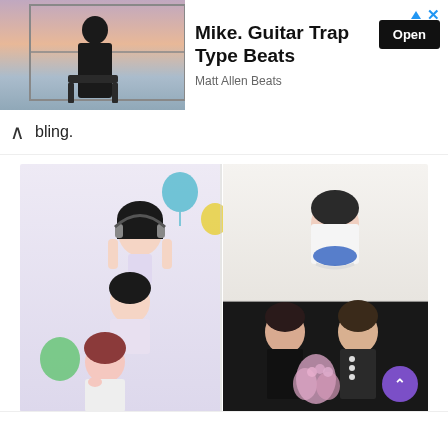[Figure (screenshot): Advertisement banner for 'Mike. Guitar Trap Type Beats' by Matt Allen Beats, with a silhouette photo against sunset, Open button, and close/info icons]
bling.
[Figure (photo): Photo collage of Korean women/girls in two panels: left panel shows three young women stacked in a playful pose with balloon decorations; right panel shows three women smiling, one holding pink flowers, with a blue scarf]